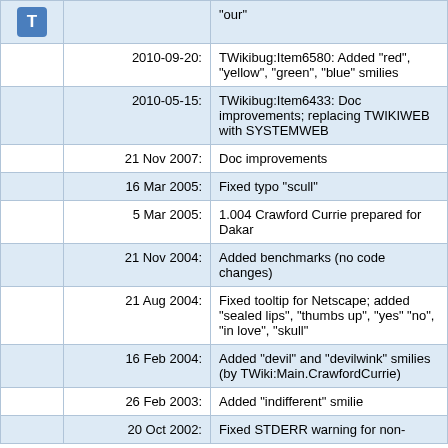|  | Date | Description |
| --- | --- | --- |
| T icon |  | "our" |
|  | 2010-09-20: | TWikibug:Item6580: Added "red", "yellow", "green", "blue" smilies |
|  | 2010-05-15: | TWikibug:Item6433: Doc improvements; replacing TWIKIWEB with SYSTEMWEB |
|  | 21 Nov 2007: | Doc improvements |
|  | 16 Mar 2005: | Fixed typo "scull" |
|  | 5 Mar 2005: | 1.004 Crawford Currie prepared for Dakar |
|  | 21 Nov 2004: | Added benchmarks (no code changes) |
|  | 21 Aug 2004: | Fixed tooltip for Netscape; added "sealed lips", "thumbs up", "yes" "no", "in love", "skull" |
|  | 16 Feb 2004: | Added "devil" and "devilwink" smilies (by TWiki:Main.CrawfordCurrie) |
|  | 26 Feb 2003: | Added "indifferent" smilie |
|  | 20 Oct 2002: | Fixed STDERR warning for non-installed Plugins... |